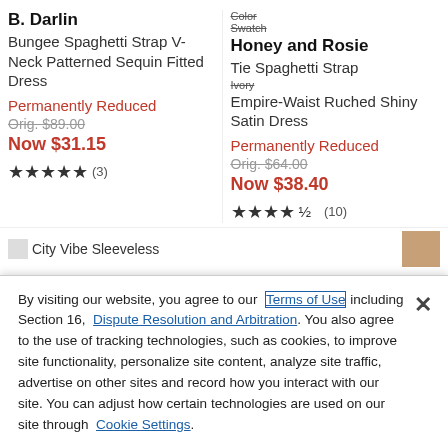B. Darlin
Bungee Spaghetti Strap V-Neck Patterned Sequin Fitted Dress
Permanently Reduced
Orig. $89.00
Now $31.15
★★★★★ (3)
Color [swatches]
Swatch
Honey and Rosie
Tie Spaghetti Strap
Ivory
Empire-Waist Ruched Shiny Satin Dress
Permanently Reduced
Orig. $64.00
Now $38.40
★★★★½ (10)
City Vibe Sleeveless [product listing, partial]
By visiting our website, you agree to our Terms of Use including Section 16, Dispute Resolution and Arbitration. You also agree to the use of tracking technologies, such as cookies, to improve site functionality, personalize site content, analyze site traffic, advertise on other sites and record how you interact with our site. You can adjust how certain technologies are used on our site through Cookie Settings.